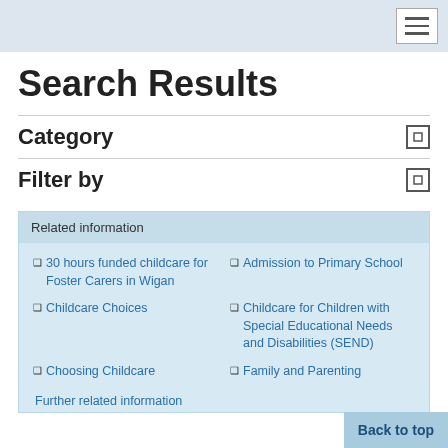Navigation menu
Search Results
Category
Filter by
Related information
30 hours funded childcare for Foster Carers in Wigan
Admission to Primary School
Childcare Choices
Childcare for Children with Special Educational Needs and Disabilities (SEND)
Choosing Childcare
Family and Parenting
Further related information